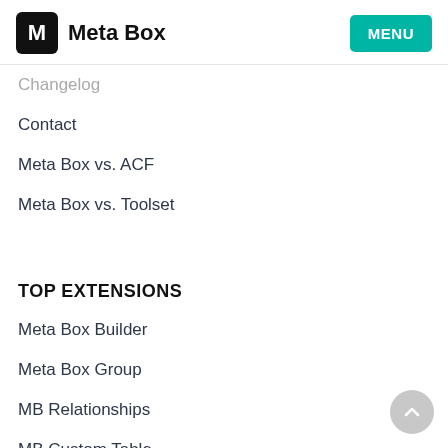Meta Box | MENU
Changelog
Contact
Meta Box vs. ACF
Meta Box vs. Toolset
TOP EXTENSIONS
Meta Box Builder
Meta Box Group
MB Relationships
MB Custom Table
MB Settings Page